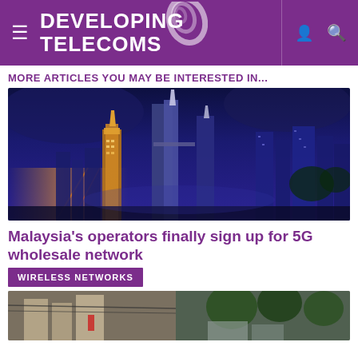DEVELOPING TELECOMS
MORE ARTICLES YOU MAY BE INTERESTED IN...
[Figure (photo): Aerial night view of Kuala Lumpur city skyline with illuminated skyscrapers including the Petronas Twin Towers]
Malaysia's operators finally sign up for 5G wholesale network
WIRELESS NETWORKS
[Figure (photo): Street-level photo with buildings and overhead cables, partially visible at bottom of page]